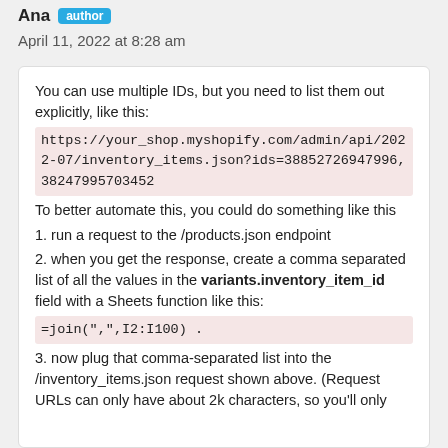Ana author
April 11, 2022 at 8:28 am
You can use multiple IDs, but you need to list them out explicitly, like this:
https://your_shop.myshopify.com/admin/api/2022-07/inventory_items.json?ids=38852726947996,38247995703452
To better automate this, you could do something like this
1. run a request to the /products.json endpoint
2. when you get the response, create a comma separated list of all the values in the variants.inventory_item_id field with a Sheets function like this:
=join(",",I2:I100) .
3. now plug that comma-separated list into the /inventory_items.json request shown above. (Request URLs can only have about 2k characters, so you'll only